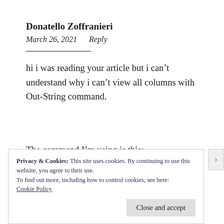Donatello Zoffranieri
March 26, 2021    Reply
hi i was reading your article but i can't understand why i can't view all columns with Out-String command.
The command I'm using is this:
Privacy & Cookies: This site uses cookies. By continuing to use this website, you agree to their use.
To find out more, including how to control cookies, see here:
Cookie Policy
Close and accept